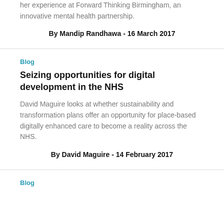her experience at Forward Thinking Birmingham, an innovative mental health partnership.
By Mandip Randhawa - 16 March 2017
Blog
Seizing opportunities for digital development in the NHS
David Maguire looks at whether sustainability and transformation plans offer an opportunity for place-based digitally enhanced care to become a reality across the NHS.
By David Maguire - 14 February 2017
Blog